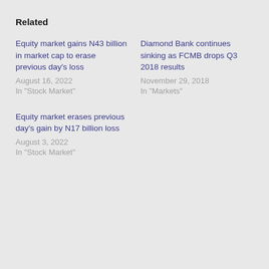Related
Equity market gains N43 billion in market cap to erase previous day's loss
August 16, 2022
In "Stock Market"
Diamond Bank continues sinking as FCMB drops Q3 2018 results
November 29, 2018
In "Markets"
Equity market erases previous day's gain by N17 billion loss
August 3, 2022
In "Stock Market"